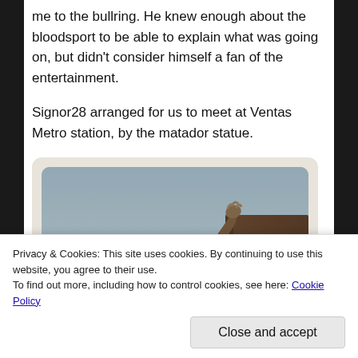me to the bullring. He knew enough about the bloodsport to be able to explain what was going on, but didn't consider himself a fan of the entertainment.
Signor28 arranged for us to meet at Ventas Metro station, by the matador statue.
[Figure (photo): A bronze matador statue photographed from below against a grey-blue sky. The matador figure is dynamic, with one arm raised and holding a cape, appearing to be in motion during a bullfight. A large dark rectangular monument or pillar is visible in the background to the right.]
Privacy & Cookies: This site uses cookies. By continuing to use this website, you agree to their use.
To find out more, including how to control cookies, see here: Cookie Policy
Close and accept